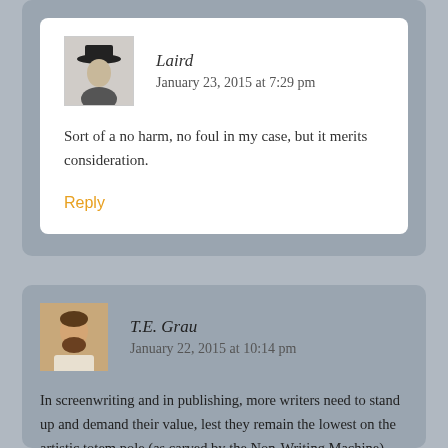Laird
January 23, 2015 at 7:29 pm
Sort of a no harm, no foul in my case, but it merits consideration.
Reply
T.E. Grau
January 22, 2015 at 10:14 pm
In screenwriting and in publishing, more writers need to stand up and demand their value, lest they remain the lowest on the artistic totem pole (as carved by the Non-Writing Machine).
Because, you know, everyone can write, right? E-mail and twitter and texts and Post-It Notes prove it.